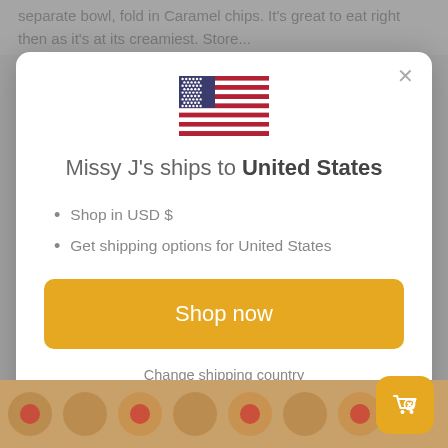separate bowl, fold in Caramel chips. It's great to eat right then as it's at its creamiest. Store...
[Figure (screenshot): Modal dialog on a shopping website. Contains a US flag, title 'Missy J's ships to United States', bullet points 'Shop in USD $' and 'Get shipping options for United States', a golden 'Shop now' button, and a 'Change shipping country' link.]
Missy J's ships to United States
Shop in USD $
Get shipping options for United States
Shop now
Change shipping country